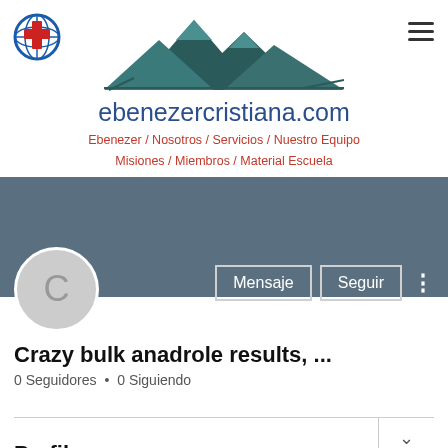[Figure (logo): Ebenezer Cristiana logo: globe with red cross, and mountain silhouette]
ebenezercristiana.com
Ebenezer / Nosotros / Servicios / Nuestro Equipo Misiones / Miembros / Material Escuela
[Figure (screenshot): User profile section with gray banner, avatar circle with letter C, Mensaje and Seguir buttons]
Crazy bulk anadrole results, ...
0 Seguidores • 0 Siguiendo
Perfil